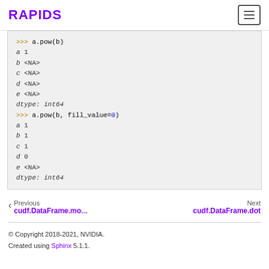RAPIDS
>>> a.pow(b)
a         1
b    <NA>
c    <NA>
d    <NA>
e    <NA>
dtype: int64
>>> a.pow(b, fill_value=0)
a         1
b         1
c         1
d         0
e    <NA>
dtype: int64
Previous cudf.DataFrame.mo‹  Next cudf.DataFrame.dot
© Copyright 2018-2021, NVIDIA.
Created using Sphinx 5.1.1.